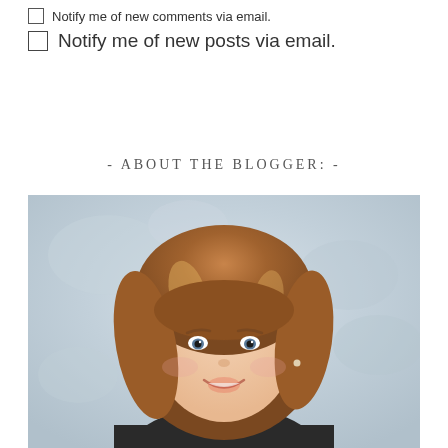Notify me of new comments via email.
Notify me of new posts via email.
- ABOUT THE BLOGGER: -
[Figure (photo): Portrait photo of a smiling woman with medium-length auburn/brown hair with highlights, against a light grey marbled background. She is wearing a dark top and small earrings.]